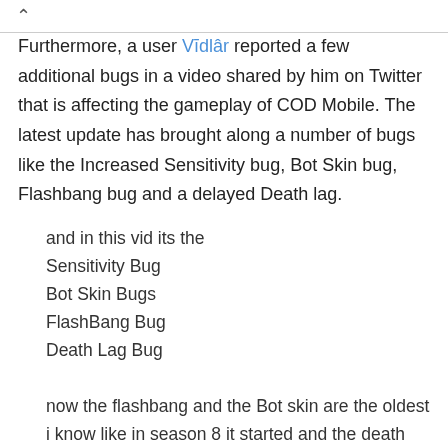Furthermore, a user Vīdlâr reported a few additional bugs in a video shared by him on Twitter that is affecting the gameplay of COD Mobile. The latest update has brought along a number of bugs like the Increased Sensitivity bug, Bot Skin bug, Flashbang bug and a delayed Death lag.
and in this vid its the
Sensitivity Bug
Bot Skin Bugs
FlashBang Bug
Death Lag Bug

now the flashbang and the Bot skin are the oldest i know like in season 8 it started and the death lag and sensitivity bug are the new ones pic.twitter.com/OeyBKNuHnn
— Vīdlâr (@Vidlaryt) May 31, 2022
According to multiple reports shared by gamers on Reddit, The moves have become considerably faster. Due to the increased